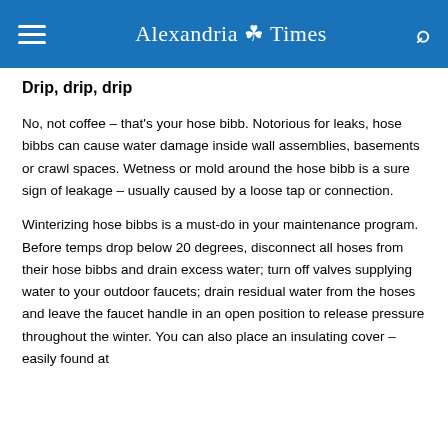Alexandria Times
Drip, drip, drip
No, not coffee – that's your hose bibb. Notorious for leaks, hose bibbs can cause water damage inside wall assemblies, basements or crawl spaces. Wetness or mold around the hose bibb is a sure sign of leakage – usually caused by a loose tap or connection.
Winterizing hose bibbs is a must-do in your maintenance program. Before temps drop below 20 degrees, disconnect all hoses from their hose bibbs and drain excess water; turn off valves supplying water to your outdoor faucets; drain residual water from the hoses and leave the faucet handle in an open position to release pressure throughout the winter. You can also place an insulating cover – easily found at hardware stores – over each hose bibb.